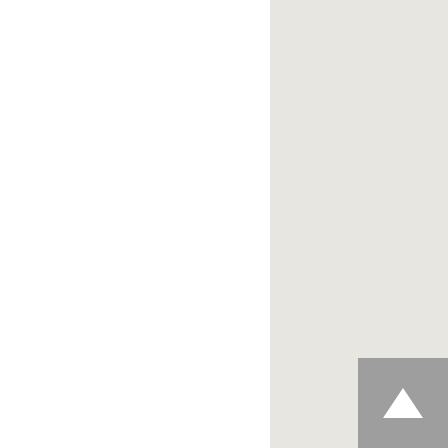lebih besar bila telah menguasai permainan <a href="https://wiki.r3pu title=Apakah_Slot_Ga kadan... slot terbaik dan terpercaya</a> slot online tersebut.